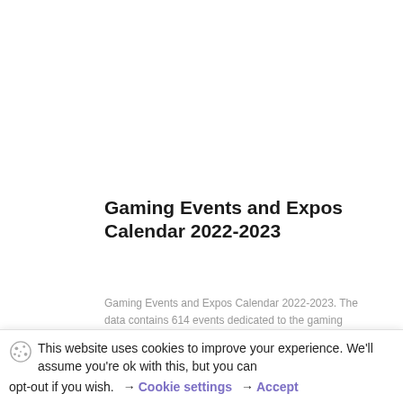Gaming Events and Expos Calendar 2022-2023
Gaming Events and Expos Calendar 2022-2023. The data contains 614 events dedicated to the gaming industry. The study includes data on gaming events featuring the latest and
This website uses cookies to improve your experience. We'll assume you're ok with this, but you can opt-out if you wish.  → Cookie settings  → Accept